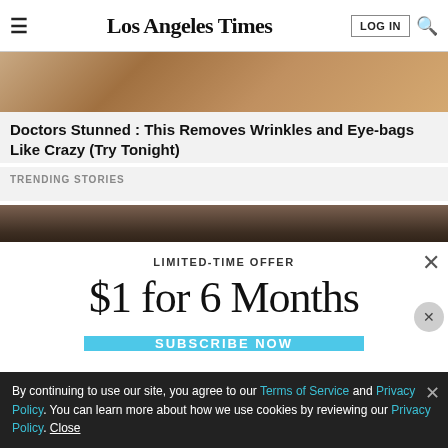Los Angeles Times
Doctors Stunned : This Removes Wrinkles and Eye-bags Like Crazy (Try Tonight)
TRENDING STORIES
[Figure (photo): Partial photo of person's head/hair, dark warm tones]
LIMITED-TIME OFFER
$1 for 6 Months
SUBSCRIBE NOW
By continuing to use our site, you agree to our Terms of Service and Privacy Policy. You can learn more about how we use cookies by reviewing our Privacy Policy. Close